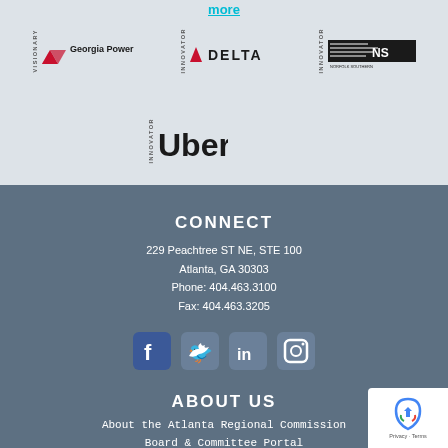more
[Figure (logo): Georgia Power logo with red triangle symbol]
[Figure (logo): Delta Airlines logo with red triangle and DELTA text]
[Figure (logo): Norfolk Southern NS logo]
[Figure (logo): Uber logo in black text]
CONNECT
229 Peachtree ST NE, STE 100
Atlanta, GA 30303
Phone: 404.463.3100
Fax: 404.463.3205
[Figure (infographic): Social media icons: Facebook, Twitter, LinkedIn, Instagram]
ABOUT US
About the Atlanta Regional Commission
Board & Committee Portal